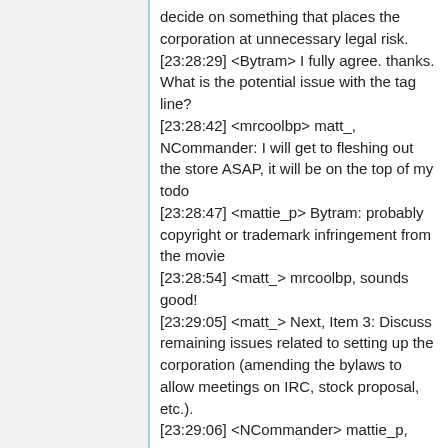decide on something that places the corporation at unnecessary legal risk. [23:28:29] <Bytram> I fully agree. thanks. What is the potential issue with the tag line? [23:28:42] <mrcoolbp> matt_, NCommander: I will get to fleshing out the store ASAP, it will be on the top of my todo [23:28:47] <mattie_p> Bytram: probably copyright or trademark infringement from the movie [23:28:54] <matt_> mrcoolbp, sounds good! [23:29:05] <matt_> Next, Item 3: Discuss remaining issues related to setting up the corporation (amending the bylaws to allow meetings on IRC, stock proposal, etc.). [23:29:06] <NCommander> mattie_p,